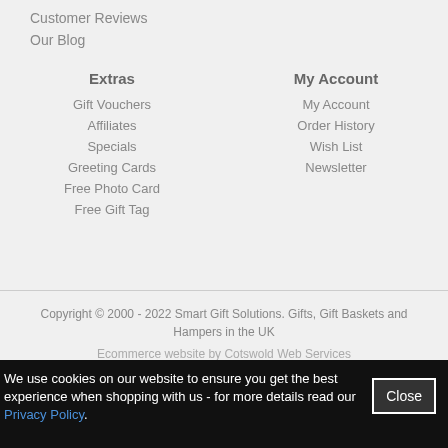Customer Reviews
Our Blog
Extras
Gift Vouchers
Affiliates
Specials
Greeting Cards
Free Photo Card
Free Gift Tag
My Account
My Account
Order History
Wish List
Newsletter
Copyright © 2000 - 2022 Smart Gift Solutions. Gifts, Gift Baskets and Hampers in the UK
Ecommerce website by Cotswold Web Services
We use cookies on our website to ensure you get the best experience when shopping with us - for more details read our Privacy Policy.